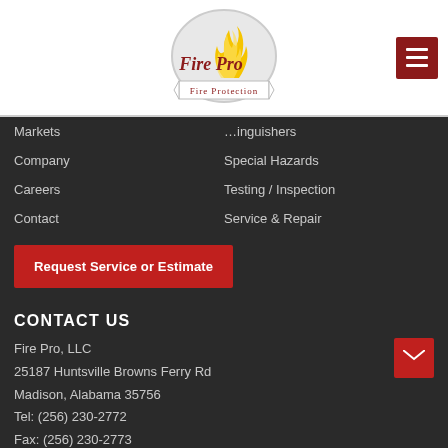[Figure (logo): Fire Pro Fire Protection circular logo with yellow flame and red script text]
Markets
Extinguishers
Company
Special Hazards
Careers
Testing / Inspection
Contact
Service & Repair
Request Service or Estimate
CONTACT US
Fire Pro, LLC
25187 Huntsville Browns Ferry Rd
Madison, Alabama 35756
Tel: (256) 230-2772
Fax: (256) 230-2773